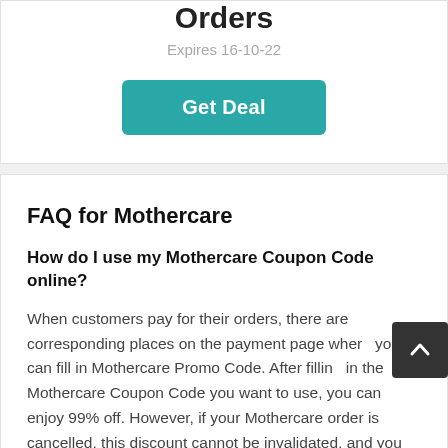Orders
Expires 16-10-22
Get Deal
FAQ for Mothercare
How do I use my Mothercare Coupon Code online?
When customers pay for their orders, there are corresponding places on the payment page where you can fill in Mothercare Promo Code. After filling in the Mothercare Coupon Code you want to use, you can enjoy 99% off. However, if your Mothercare order is cancelled, this discount cannot be invalidated, and you can use this